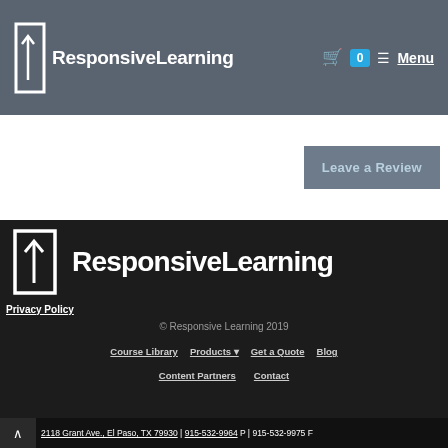ResponsiveLearning — 0 Menu
[Figure (logo): Responsive Learning logo in header — bracket/arrow icon with text 'ResponsiveLearning' in white on gray background]
Leave a Review
[Figure (logo): Responsive Learning logo in footer — large white bracket/arrow icon with text 'ResponsiveLearning' on dark background]
Privacy Policy
© Responsive Learning 2019
Course Library
Products ▾
Get a Quote
Blog
Content Partners
Contact
2118 Grant Ave., El Paso, TX 79930 | 915-532-9964 P | 915-532-9975 F